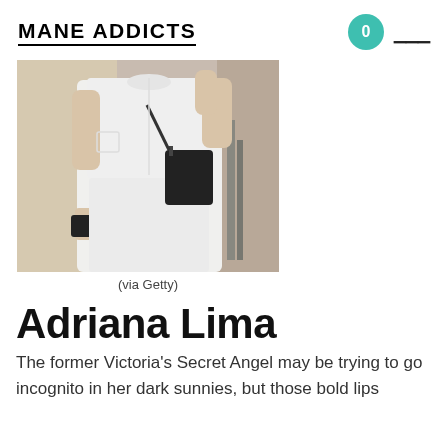MANE ADDICTS
[Figure (photo): Woman in white short-sleeve button-up outfit carrying a black crossbody bag and a black phone/wallet, photographed from neck down]
(via Getty)
Adriana Lima
The former Victoria's Secret Angel may be trying to go incognito in her dark sunnies, but those bold lips